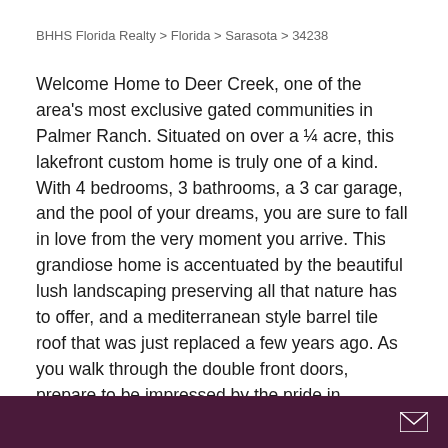BHHS Florida Realty > Florida > Sarasota > 34238
Welcome Home to Deer Creek, one of the area's most exclusive gated communities in Palmer Ranch. Situated on over a ¼ acre, this lakefront custom home is truly one of a kind. With 4 bedrooms, 3 bathrooms, a 3 car garage, and the pool of your dreams, you are sure to fall in love from the very moment you arrive. This grandiose home is accentuated by the beautiful lush landscaping preserving all that nature has to offer, and a mediterranean style barrel tile roof that was just replaced a few years ago. As you walk through the double front doors, prepare to be impressed by the pride in ownership that was evident over the last 20 years by one owner. High ceilings and windows allow plenty of natural light to enter the space, causing you to take in every single design and detail from the crown molding to the built-in bookshelves. It doesn't stop there, make your way to the open concept great room where you will be